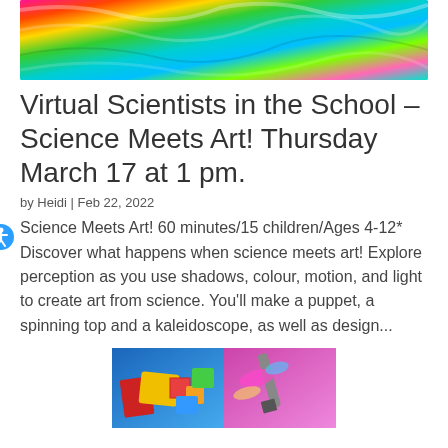[Figure (photo): Colorful swirling rainbow abstract background image with vivid stripes of pink, red, yellow, green, teal, and blue]
Virtual Scientists in the School – Science Meets Art! Thursday March 17 at 1 pm.
by Heidi | Feb 22, 2022
Science Meets Art! 60 minutes/15 children/Ages 4-12* Discover what happens when science meets art! Explore perception as you use shadows, colour, motion, and light to create art from science. You'll make a puppet, a spinning top and a kaleidoscope, as well as design…
[Figure (photo): Two small images side by side: left shows colorful puzzle pieces and art supplies on blue background; right shows a paintbrush with colorful paint on pink/purple background]